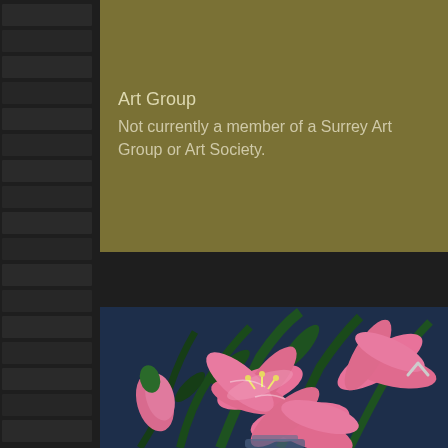Art Group
Not currently a member of a Surrey Art Group or Art Society.
[Figure (illustration): Painting of pink lilies on a dark blue background, showing multiple large blooming lily flowers with green foliage.]